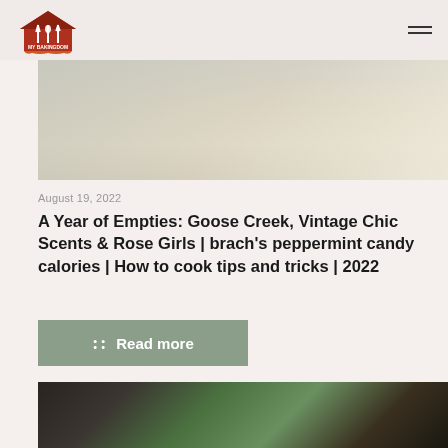MY BAKINGDOM
[Figure (photo): Photo of wrapped/packaged items in plastic, partially visible at top of page]
August 19, 2022
A Year of Empties: Goose Creek, Vintage Chic Scents & Rose Girls | brach's peppermint candy calories | How to cook tips and tricks | 2022
:: Read more
[Figure (photo): Photo showing perfume bottles or similar items outdoors with palm trees in background]